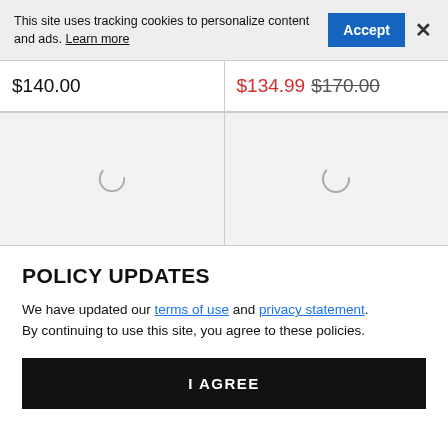This site uses tracking cookies to personalize content and ads. Learn more
$140.00
$134.99  $170.00
[Figure (other): Product image placeholder with loading spinner (left)]
[Figure (other): Product image placeholder with loading spinner (right)]
POLICY UPDATES
We have updated our terms of use and privacy statement. By continuing to use this site, you agree to these policies.
I AGREE